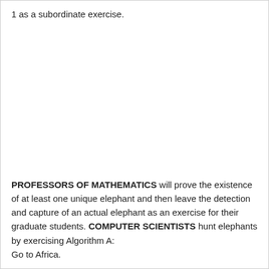1 as a subordinate exercise.
PROFESSORS OF MATHEMATICS will prove the existence of at least one unique elephant and then leave the detection and capture of an actual elephant as an exercise for their graduate students. COMPUTER SCIENTISTS hunt elephants by exercising Algorithm A:
Go to Africa.